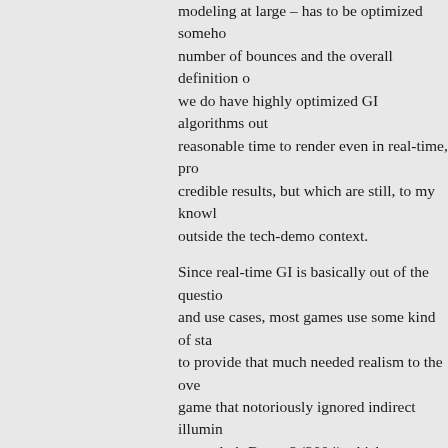modeling at large – has to be optimized somehow, number of bounces and the overall definition o we do have highly optimized GI algorithms out reasonable time to render even in real-time, pro credible results, but which are still, to my knowl outside the tech-demo context.

Since real-time GI is basically out of the questio and use cases, most games use some kind of sta to provide that much needed realism to the ove game that notoriously ignored indirect illumin super dark Doom 3 (2004) which was perhaps m concept from John Carmack that a game can b dynamic lighting system. As a result, Doom 3 lo artificial and, as said, extremely dark making it h what was going on at times. Carmack did backp which lighting approach was more of a practica ideological one, which in part made Rage one o games of its genre.

Ho...